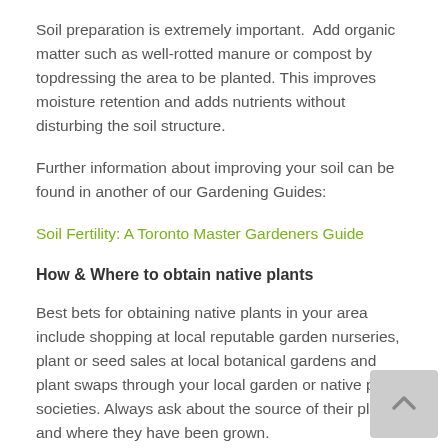Soil preparation is extremely important.  Add organic matter such as well-rotted manure or compost by topdressing the area to be planted. This improves moisture retention and adds nutrients without disturbing the soil structure.
Further information about improving your soil can be found in another of our Gardening Guides:
Soil Fertility: A Toronto Master Gardeners Guide
How & Where to obtain native plants
Best bets for obtaining native plants in your area include shopping at local reputable garden nurseries,  plant or seed sales at local botanical gardens and plant swaps through your local garden or native plant societies. Always ask about the source of their plants and where they have been grown.